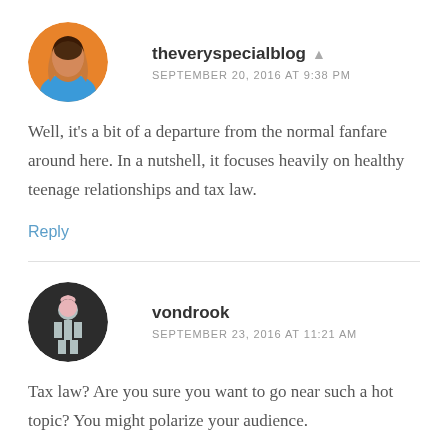theveryspecialblog
SEPTEMBER 20, 2016 AT 9:38 PM
Well, it's a bit of a departure from the normal fanfare around here. In a nutshell, it focuses heavily on healthy teenage relationships and tax law.
Reply
vondrook
SEPTEMBER 23, 2016 AT 11:21 AM
Tax law? Are you sure you want to go near such a hot topic? You might polarize your audience.